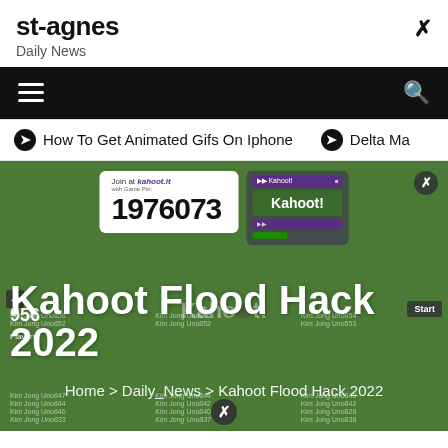st-agnes
Daily News
[Figure (screenshot): Website screenshot of st-agnes Daily News showing navigation bar, ticker with article links, and hero image of Kahoot flood hack page with game pin 1976073]
How To Get Animated Gifs On Iphone  ⊙  Delta Ma
Kahoot Flood Hack 2022
Home > Daily_News > Kahoot Flood Hack 2022